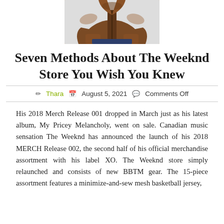[Figure (photo): Partial torso of a person wearing a brown leather jacket with hands in pockets, jeans visible at the bottom.]
Seven Methods About The Weeknd Store You Wish You Knew
✏ Thara 📅 August 5, 2021 💬 Comments Off
His 2018 Merch Release 001 dropped in March just as his latest album, My Pricey Melancholy, went on sale. Canadian music sensation The Weeknd has announced the launch of his 2018 MERCH Release 002, the second half of his official merchandise assortment with his label XO. The Weeknd store simply relaunched and consists of new BBTM gear. The 15-piece assortment features a minimize-and-sew mesh basketball jersey,